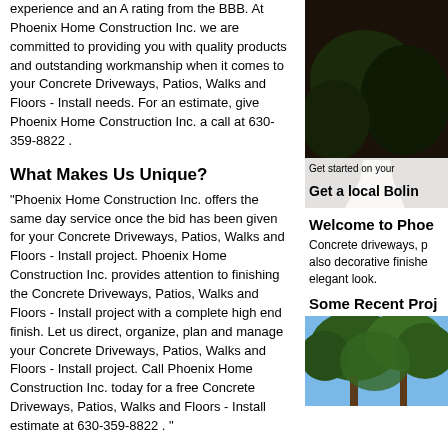experience and an A rating from the BBB. At Phoenix Home Construction Inc. we are committed to providing you with quality products and outstanding workmanship when it comes to your Concrete Driveways, Patios, Walks and Floors - Install needs. For an estimate, give Phoenix Home Construction Inc. a call at 630-359-8822 .
[Figure (photo): Outdoor photo showing a concrete driveway or path next to a lawn with plants/shrubs, dark background]
Get started on your
Get a local Bolin
What Makes Us Unique?
"Phoenix Home Construction Inc. offers the same day service once the bid has been given for your Concrete Driveways, Patios, Walks and Floors - Install project. Phoenix Home Construction Inc. provides attention to finishing the Concrete Driveways, Patios, Walks and Floors - Install project with a complete high end finish. Let us direct, organize, plan and manage your Concrete Driveways, Patios, Walks and Floors - Install project. Call Phoenix Home Construction Inc. today for a free Concrete Driveways, Patios, Walks and Floors - Install estimate at 630-359-8822 . "
Welcome to Phoe
Concrete driveways, p also decorative finishe elegant look.
Services
Some Recent Proj
- Addition to Existing Structure - Build
- Asphalt Shingle Roofing - Install or Replace
- Basement - Remodel
- Bathroom - Remodel
[Figure (photo): Outdoor photo showing trees with blue sky background]